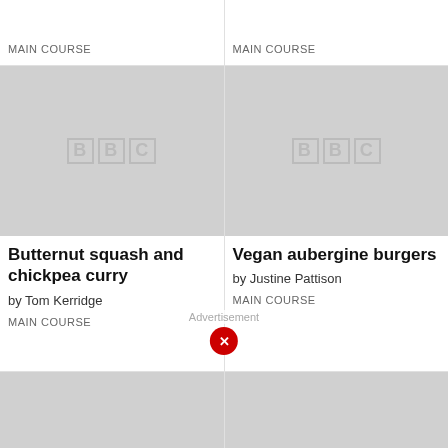MAIN COURSE
MAIN COURSE
[Figure (photo): BBC placeholder image for Butternut squash and chickpea curry]
Butternut squash and chickpea curry
by Tom Kerridge
MAIN COURSE
[Figure (photo): BBC placeholder image for Vegan aubergine burgers]
Vegan aubergine burgers
by Justine Pattison
MAIN COURSE
[Figure (photo): BBC placeholder image for Cauliflower pizza]
Cauliflower pizza
[Figure (photo): BBC placeholder image for Veggie sausage tray bake]
Veggie sausage tray bake